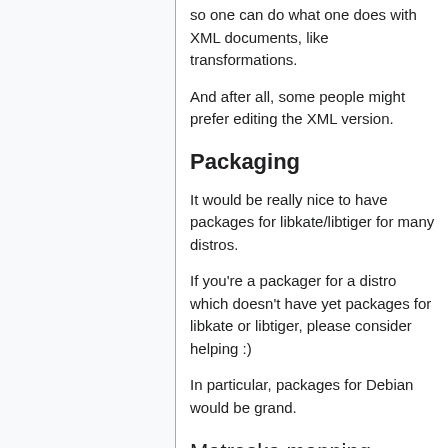so one can do what one does with XML documents, like transformations.
And after all, some people might prefer editing the XML version.
Packaging
It would be really nice to have packages for libkate/libtiger for many distros.
If you're a packager for a distro which doesn't have yet packages for libkate or libtiger, please consider helping :)
In particular, packages for Debian would be grand.
Matroska mapping
The codec ID is "S_KATE".
As for Theora and Vorbis, Kate headers are stored in the private data as xiph-